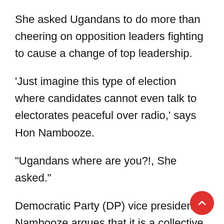She asked Ugandans to do more than cheering on opposition leaders fighting to cause a change of top leadership.
'Just imagine this type of election where candidates cannot even talk to electorates peaceful over radio,' says Hon Nambooze.
“Ugandans where are you?!, She asked.”
Democratic Party (DP) vice president Nambooze argues that it is a collective responsibility to fight for Justice, and democratic governance in Uganda.
She has credited Kyadondo East MP Kyagulanyi